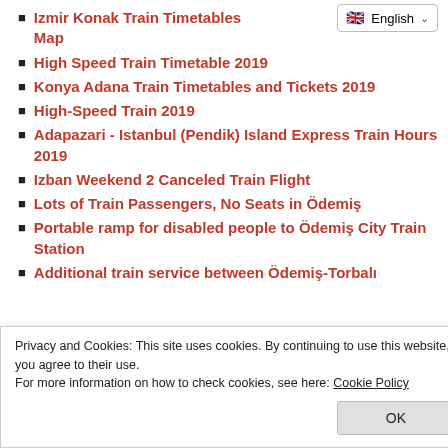Izmir Konak Train Timetables and Map
High Speed Train Timetable 2019
Konya Adana Train Timetables and Tickets 2019
High-Speed Train 2019
Adapazari - Istanbul (Pendik) Island Express Train Hours 2019
Izban Weekend 2 Canceled Train Flight
Lots of Train Passengers, No Seats in Ödemiş
Portable ramp for disabled people to Ödemiş City Train Station
Additional train service between Ödemiş-Torbalı
Privacy and Cookies: This site uses cookies. By continuing to use this website, you agree to their use.
For more information on how to check cookies, see here: Cookie Policy
OK